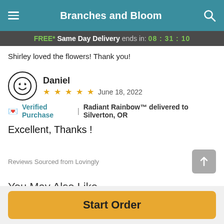Branches and Bloom
FREE* Same Day Delivery ends in: 08 : 31 : 10
Shirley loved the flowers! Thank you!
Daniel
★★★★★  June 18, 2022
💌 Verified Purchase | Radiant Rainbow™ delivered to Silverton, OR
Excellent, Thanks !
Reviews Sourced from Lovingly
You May Also Like
Start Order